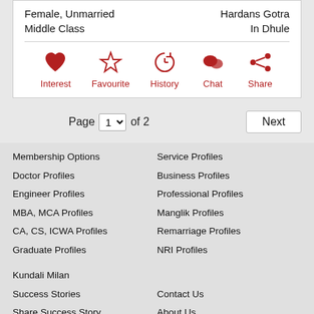Female, Unmarried
Middle Class
Hardans Gotra
In Dhule
[Figure (infographic): Action icons row: Interest (heart), Favourite (star), History (clock), Chat (speech bubble), Share (share icon) — all in red with red labels below]
Page 1 of 2  Next
Membership Options
Service Profiles
Doctor Profiles
Business Profiles
Engineer Profiles
Professional Profiles
MBA, MCA Profiles
Manglik Profiles
CA, CS, ICWA Profiles
Remarriage Profiles
Graduate Profiles
NRI Profiles
Kundali Milan
Success Stories
Contact Us
Share Success Story
About Us
Report Service Issue
FAQ
Share Feedback
Terms Of Use
Report Misuse
Privacy Policy